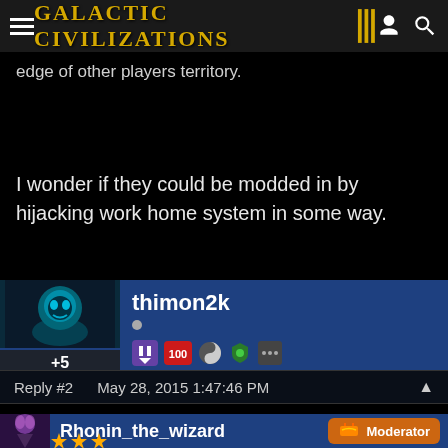Galactic Civilizations III
edge of other players territory.
I wonder if they could be modded in by hijacking work home system in some way.
thimon2k
Reply #2   May 28, 2015 1:47:46 PM
Would it be possible to use the worm holes from the anomilies and make them into permanent warp gates.
Rhonin_the_wizard   Moderator